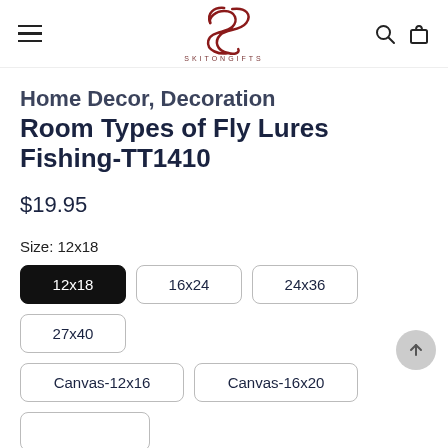SKITONGIFTS
Home Decor, Decoration Room Types of Fly Lures Fishing-TT1410
$19.95
Size: 12x18
12x18
16x24
24x36
27x40
Canvas-12x16
Canvas-16x20